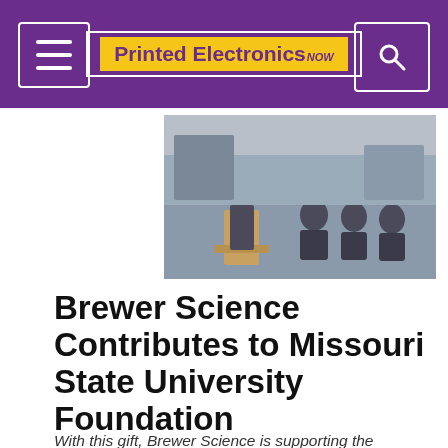Printed Electronics NOW
[Figure (photo): Group of people at a podium/panel event, appears to be an academic or business setting]
Brewer Science Contributes to Missouri State University Foundation
With this gift, Brewer Science is supporting the construction of the Jordan Valley Innovation Center.
04.13.21
BREAKING NEWS | FLEXIBLE AND PRINTED ELECTRONICS |
[Figure (screenshot): Advertisement banner with text RESEARCH on blue background]